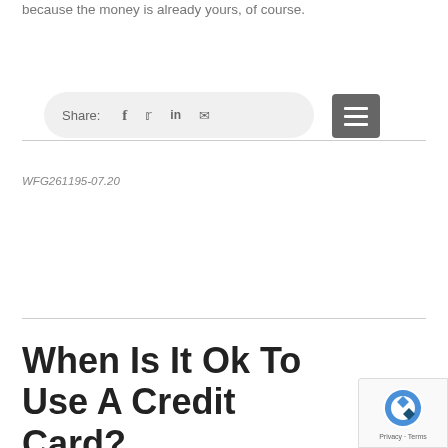because the money is already yours, of course.
[Figure (infographic): Share bar with social media icons (Facebook, Twitter, LinkedIn, email) on a light grey pill-shaped background, and a grey hamburger menu button on the right]
WFG261195-07.20
When Is It Ok To Use A Credit Card?